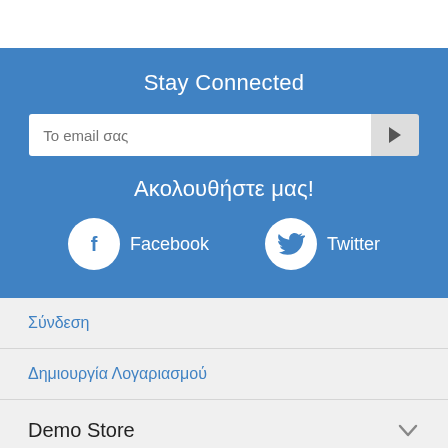Stay Connected
Το email σας
Ακολουθήστε μας!
Facebook
Twitter
Σύνδεση
Δημιουργία Λογαριασμού
Demo Store